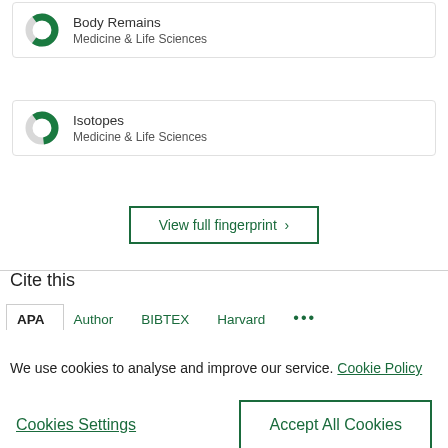[Figure (donut-chart): Partial green donut chart icon for Body Remains]
Body Remains
Medicine & Life Sciences
[Figure (donut-chart): Partial green donut chart icon for Isotopes]
Isotopes
Medicine & Life Sciences
View full fingerprint >
Cite this
APA  Author  BIBTEX  Harvard  ...
We use cookies to analyse and improve our service. Cookie Policy
Cookies Settings
Accept All Cookies